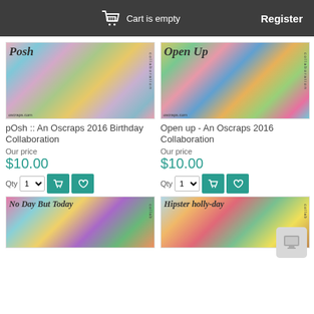Cart is empty   Register
[Figure (photo): pOsh product image - colorful scrapbooking collaboration kit with flowers, balloons, and decorative elements. Title 'Posh' visible. oscraps.com watermark.]
pOsh :: An Oscraps 2016 Birthday Collaboration
Our price
$10.00
[Figure (photo): Open Up product image - colorful scrapbooking collaboration kit with flowers, hearts, and decorative elements. Title 'Open Up' visible. oscraps.com watermark.]
Open up - An Oscraps 2016 Collaboration
Our price
$10.00
[Figure (photo): No Day But Today product image - colorful scrapbooking collaboration kit. Title 'No Day But Today' visible.]
[Figure (photo): Hipster holly-day product image - colorful scrapbooking collaboration kit. Title 'Hipster holly-day' visible.]